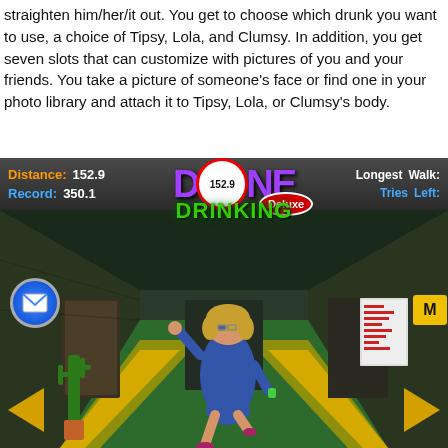straighten him/her/it out. You get to choose which drunk you want to use, a choice of Tipsy, Lola, and Clumsy. In addition, you get seven slots that can customize with pictures of you and your friends. You take a picture of someone's face or find one in your photo library and attach it to Tipsy, Lola, or Clumsy's body.
[Figure (screenshot): Screenshot of a mobile game called 'Done Drinking Deluxe' showing a female cartoon character walking along a green corridor/hallway. The HUD shows Distance: 152.9, Record: 350.1, and a circular score indicator displaying 152.9. The game logo shows 'DONE DRINKING Deluxe' in purple and green text. Navigation arrows appear at the bottom corners.]